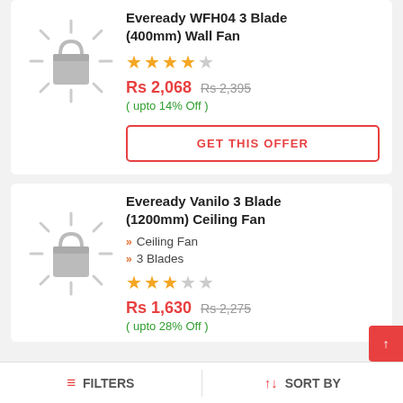Eveready WFH04 3 Blade (400mm) Wall Fan
[Figure (illustration): Product placeholder image with loading spinner/bag icon in gray]
★★★★☆
Rs 2,068  Rs 2,395
( upto 14% Off )
GET THIS OFFER
Eveready Vanilo 3 Blade (1200mm) Ceiling Fan
[Figure (illustration): Product placeholder image with loading spinner/bag icon in gray]
Ceiling Fan
3 Blades
★★★☆☆
Rs 1,630  Rs 2,275
( upto 28% Off )
FILTERS   SORT BY